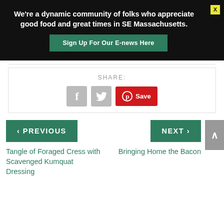We're a dynamic community of folks who appreciate good food and great times in SE Massachusetts.
Sign Up For Our E-news Here
SHARE:
[Figure (infographic): Social share buttons: Facebook (f icon), Twitter (bird icon), Pinterest (Save button in red)]
< PREVIOUS
Tangle of Foraged Cress with Scavenged Kumquat Dressing
NEXT >
Bringing Home the Bacon